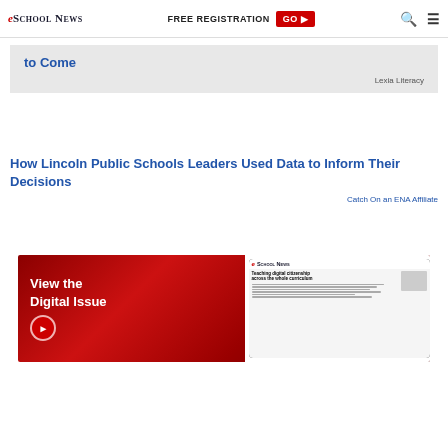eSchool News | FREE REGISTRATION GO ▶
to Come
Lexia Literacy
How Lincoln Public Schools Leaders Used Data to Inform Their Decisions
Catch On an ENA Affiliate
[Figure (illustration): Advertisement banner for eSchool News Digital Issue featuring a dark red background with text 'View the Digital Issue' and a play arrow button, alongside an image of a tablet displaying an eSchool News article about 'Teaching digital citizenship across the whole curriculum']